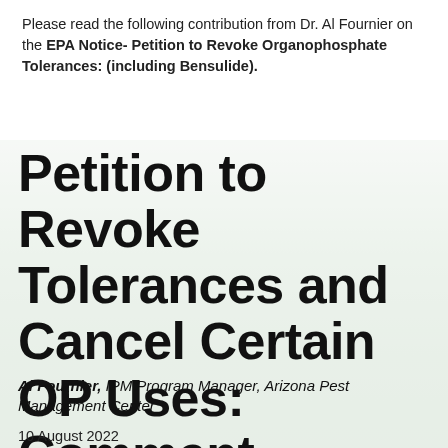Please read the following contribution from Dr. Al Fournier on the EPA Notice- Petition to Revoke Organophosphate Tolerances: (including Bensulide).
Petition to Revoke Tolerances and Cancel Certain OP Uses: Comment Deadline Extended
Al Fournier, IPM Program Manager, Arizona Pest Management Center
10 August 2022